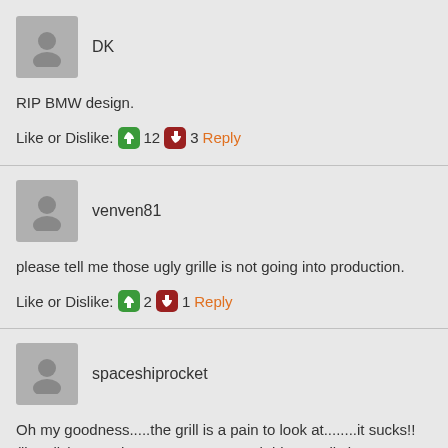DK
RIP BMW design.
Like or Dislike: 👍 12 👎 3 Reply
venven81
please tell me those ugly grille is not going into production.
Like or Dislike: 👍 2 👎 1 Reply
spaceshiprocket
Oh my goodness.....the grill is a pain to look at........it sucks!! (literally) Never have I ever seen such big nostrils in my life.....the normal 4 series....still acceptable but this....
Like or Dislike: 👍 4 👎 1 Reply